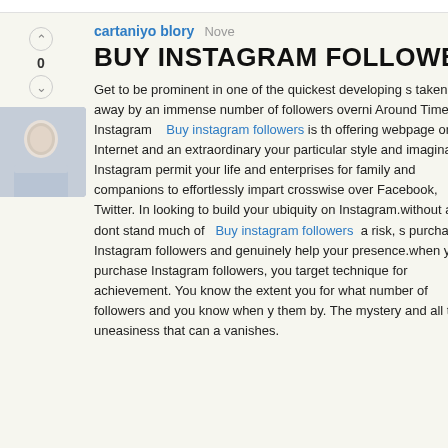[Figure (photo): Profile photo of a young man in a light blue shirt]
cartaniyo blory
Nove
BUY INSTAGRAM FOLLOWER
Get to be prominent in one of the quickest developing s taken away by an immense number of followers overni Around Time! Instagram   Buy instagram followers is th offering webpage on the Internet and an extraordinary your particular style and imagination. Instagram permit your life and enterprises for family and companions to effortlessly impart crosswise over Facebook, Twitter. In looking to build your ubiquity on Instagram.without a so dont stand much of   Buy instagram followers  a risk, s purchase Instagram followers and genuinely help your presence.when you purchase Instagram followers, you target technique for achievement. You know the extent you for what number of followers and you know when y them by. The mystery and all the uneasiness that can a vanishes.